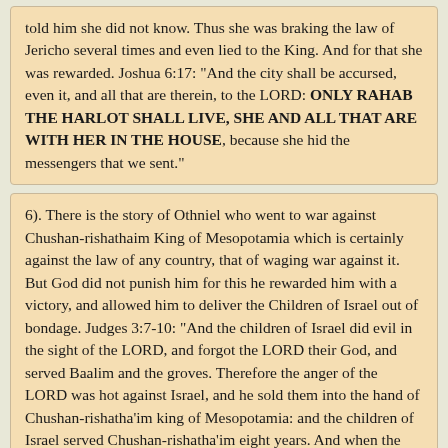told him she did not know. Thus she was braking the law of Jericho several times and even lied to the King. And for that she was rewarded. Joshua 6:17: "And the city shall be accursed, even it, and all that are therein, to the LORD: ONLY RAHAB THE HARLOT SHALL LIVE, SHE AND ALL THAT ARE WITH HER IN THE HOUSE, because she hid the messengers that we sent."
6). There is the story of Othniel who went to war against Chushan-rishathaim King of Mesopotamia which is certainly against the law of any country, that of waging war against it. But God did not punish him for this he rewarded him with a victory, and allowed him to deliver the Children of Israel out of bondage. Judges 3:7-10: "And the children of Israel did evil in the sight of the LORD, and forgot the LORD their God, and served Baalim and the groves. Therefore the anger of the LORD was hot against Israel, and he sold them into the hand of Chushan-rishatha'im king of Mesopotamia: and the children of Israel served Chushan-rishatha'im eight years. And when the children of Israel cried unto the LORD, the LORD raised up a deliverer to the children of Israel, who delivered them, even OTHNIEL the son of Kenaz